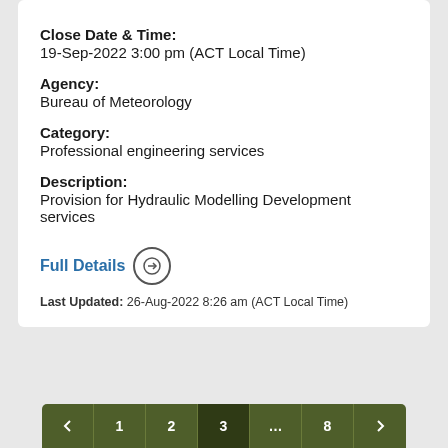Close Date & Time:
19-Sep-2022 3:00 pm (ACT Local Time)
Agency:
Bureau of Meteorology
Category:
Professional engineering services
Description:
Provision for Hydraulic Modelling Development services
Full Details →
Last Updated: 26-Aug-2022 8:26 am (ACT Local Time)